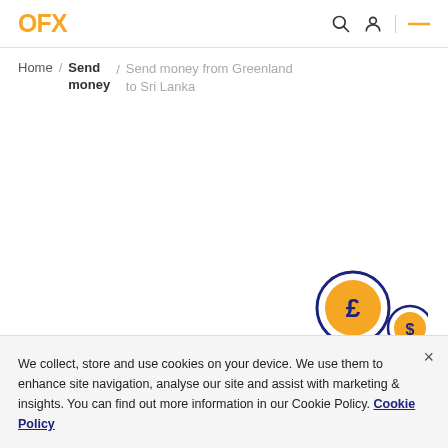OFX
Home / Send money / Send money from Greenland to Sri Lanka
[Figure (illustration): Three currency coin icons: a large pound (£) coin, a smaller dollar ($) coin, and a yen (¥) coin, arranged in a scattered pattern with navy blue borders and orange fill]
We collect, store and use cookies on your device. We use them to enhance site navigation, analyse our site and assist with marketing & insights. You can find out more information in our Cookie Policy. Cookie Policy
Transfer money to Sri Lanka with